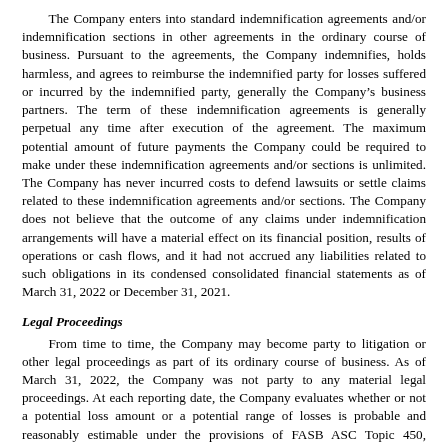The Company enters into standard indemnification agreements and/or indemnification sections in other agreements in the ordinary course of business. Pursuant to the agreements, the Company indemnifies, holds harmless, and agrees to reimburse the indemnified party for losses suffered or incurred by the indemnified party, generally the Company’s business partners. The term of these indemnification agreements is generally perpetual any time after execution of the agreement. The maximum potential amount of future payments the Company could be required to make under these indemnification agreements and/or sections is unlimited. The Company has never incurred costs to defend lawsuits or settle claims related to these indemnification agreements and/or sections. The Company does not believe that the outcome of any claims under indemnification arrangements will have a material effect on its financial position, results of operations or cash flows, and it had not accrued any liabilities related to such obligations in its condensed consolidated financial statements as of March 31, 2022 or December 31, 2021.
Legal Proceedings
From time to time, the Company may become party to litigation or other legal proceedings as part of its ordinary course of business. As of March 31, 2022, the Company was not party to any material legal proceedings. At each reporting date, the Company evaluates whether or not a potential loss amount or a potential range of losses is probable and reasonably estimable under the provisions of FASB ASC Topic 450, Contingencies.
8. Stockholders’ Equity
As of March 31, 2022 and December 31, 2021, the Company’s Certificate of Incorporation authorized the Company to issue 200,000,000 shares of common